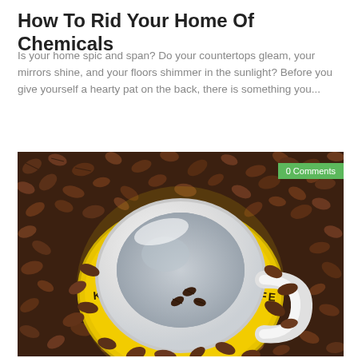How To Rid Your Home Of Chemicals
Is your home spic and span? Do your countertops gleam, your mirrors shine, and your floors shimmer in the sunlight? Before you give yourself a hearty pat on the back, there is something you...
[Figure (photo): Overhead view of a white ceramic coffee cup on a yellow Kaffee-branded saucer, surrounded by roasted coffee beans, with a green '0 Comments' badge in the upper right corner.]